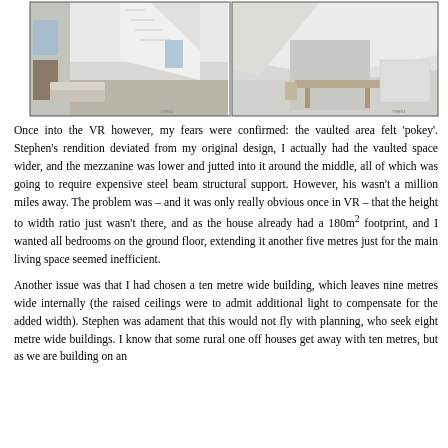[Figure (photo): Two side-by-side interior 3D render screenshots of a house with vaulted/high ceilings, white walls, wooden stairs and furnishings. Left image shows living space with sofa and windows; right image shows dining area with table.]
Once into the VR however, my fears were confirmed: the vaulted area felt 'pokey'. Stephen's rendition deviated from my original design, I actually had the vaulted space wider, and the mezzanine was lower and jutted into it around the middle, all of which was going to require expensive steel beam structural support. However, his wasn't a million miles away. The problem was – and it was only really obvious once in VR – that the height to width ratio just wasn't there, and as the house already had a 180m² footprint, and I wanted all bedrooms on the ground floor, extending it another five metres just for the main living space seemed inefficient.
Another issue was that I had chosen a ten metre wide building, which leaves nine metres wide internally (the raised ceilings were to admit additional light to compensate for the added width). Stephen was adament that this would not fly with planning, who seek eight metre wide buildings. I know that some rural one off houses get away with ten metres, but as we are building on an